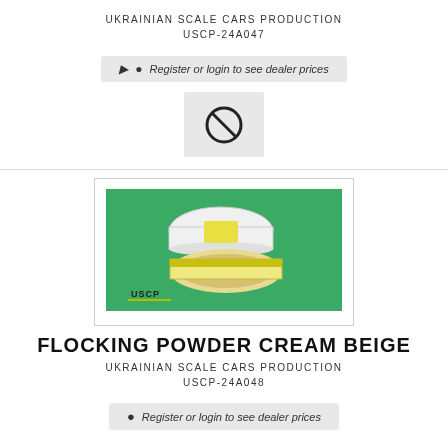UKRAINIAN SCALE CARS PRODUCTION
USCP-24A047
Register or login to see dealer prices
[Figure (other): No image placeholder with a prohibited/cancel symbol icon on a light grey background]
[Figure (photo): Photo of two round containers of USCP Flocking Powder Cream Beige on a green background, with USCP logo visible]
FLOCKING POWDER CREAM BEIGE
UKRAINIAN SCALE CARS PRODUCTION
USCP-24A048
Register or login to see dealer prices